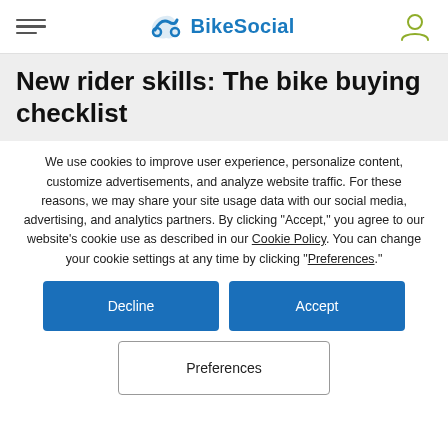BikeSocial
New rider skills: The bike buying checklist
We use cookies to improve user experience, personalize content, customize advertisements, and analyze website traffic. For these reasons, we may share your site usage data with our social media, advertising, and analytics partners. By clicking "Accept," you agree to our website's cookie use as described in our Cookie Policy. You can change your cookie settings at any time by clicking "Preferences."
Decline
Accept
Preferences